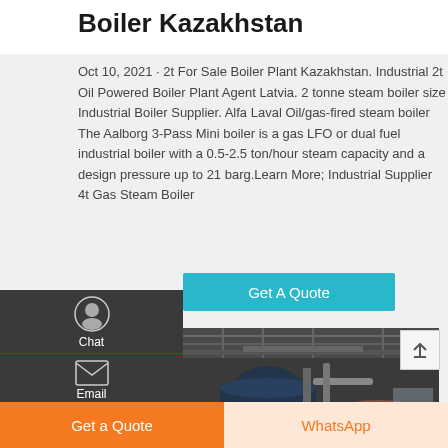Boiler Kazakhstan
Oct 10, 2021 · 2t For Sale Boiler Plant Kazakhstan. Industrial 2t Oil Powered Boiler Plant Agent Latvia. 2 tonne steam boiler size Industrial Boiler Supplier. Alfa Laval Oil/gas-fired steam boiler The Aalborg 3-Pass Mini boiler is a gas LFO or dual fuel industrial boiler with a 0.5-2.5 ton/hour steam capacity and a design pressure up to 21 barg.Learn More; Industrial Supplier 4t Gas Steam Boiler
[Figure (photo): Industrial boiler plant interior showing large cylindrical boiler units with pipes and a worker standing in the facility]
Get A Quote
Chat
Email
Contact
Get a Quote
WhatsApp